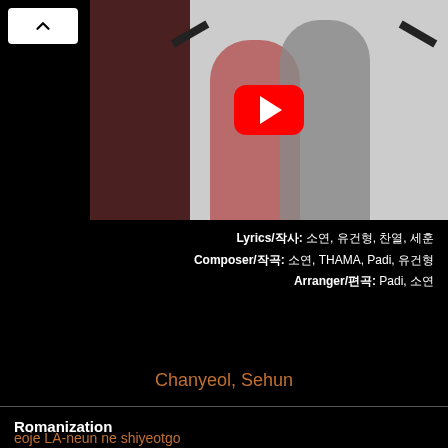[Figure (screenshot): YouTube video thumbnail showing two people holding guns, one in a patterned pink shirt and one in a grey vest]
Lyrics/작사: 소연, 유건형, 찬열, 세훈
Composer/작곡: 소연, THAMA, Padi, 유건형
Arranger/편곡: Padi, 소연
Chanyeol, Sehun
Romanization
eoje LA-neun ne shiyeotgo